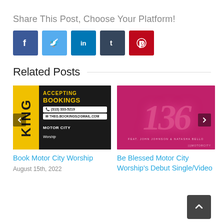Share This Post, Choose Your Platform!
[Figure (infographic): Social sharing buttons: Facebook (dark blue), Twitter (light blue), LinkedIn (blue), Tumblr (dark navy), Pinterest (red)]
Related Posts
[Figure (photo): Book Motor City Worship promotional image with yellow and black design saying ACCEPTING BOOKINGS with phone (313) 333-5219 and email THEG.BOOKINGS@GMAIL.COM and Motor City Worship logo]
[Figure (photo): Be Blessed - Motor City Worship debut single/video cover art with pink/magenta gradient background and large stylized number 136]
Book Motor City Worship
August 15th, 2022
Be Blessed Motor City Worship's Debut Single/Video